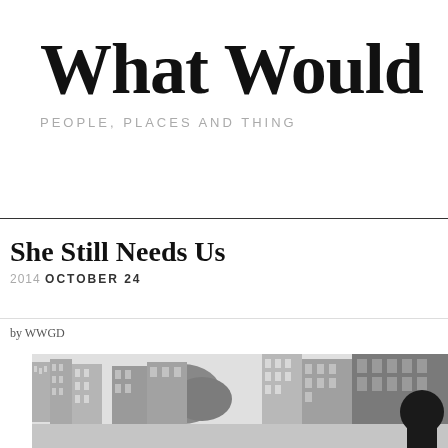What Would
PEOPLE, PLACES AND THING
She Still Needs Us
2014 OCTOBER 24
by WWGD
[Figure (photo): Black and white street scene photograph showing buildings and a person in the foreground, partially cropped]